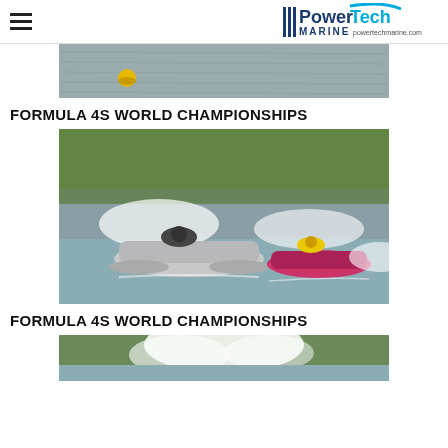PowerTech MARINE powertechmarine.com
[Figure (photo): Aerial view of water surface with a yellow buoy, gray choppy water]
FORMULA 4S WORLD CHAMPIONSHIPS
[Figure (photo): Two racing hydroplane boats speeding on water, white boat on left and pink boat on right, with spray and green tree background]
FORMULA 4S WORLD CHAMPIONSHIPS
[Figure (photo): Partial view of boat race with water spray, bottom of page cropped]